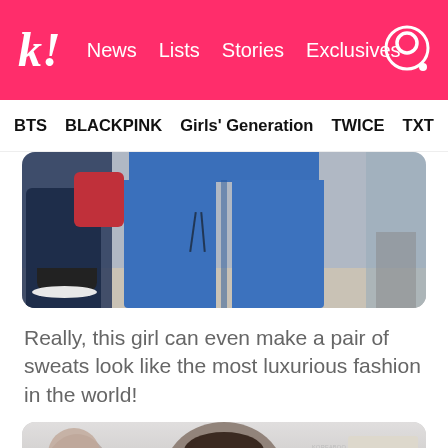k! News  Lists  Stories  Exclusives
BTS  BLACKPINK  Girls' Generation  TWICE  TXT  SEVE
[Figure (photo): Photo of a person wearing fitted blue jeans, cropped to show body from waist down, walking in a hallway. Other people visible in background.]
Really, this girl can even make a pair of sweats look like the most luxurious fashion in the world!
[Figure (photo): Photo of a person at what appears to be an airport or public venue, head and upper body visible, crowd in background, banner/sign visible on the right side.]